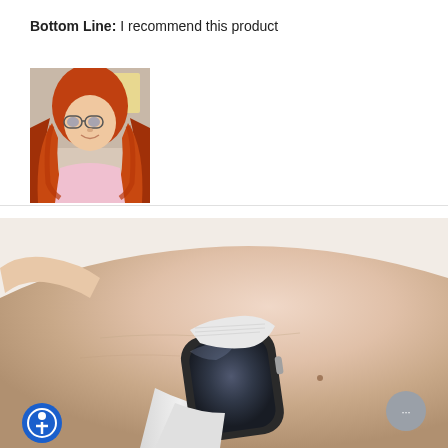Bottom Line: I recommend this product
[Figure (photo): Profile photo of a person with long red/orange hair and glasses, wearing a light pink top, smiling at the camera.]
[Figure (photo): Close-up photo of a wrist wearing an Apple Watch with a white/silver mesh band. The watch face shows a dark/reflective display. The hand is positioned with fingers extended.]